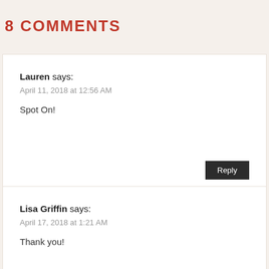8 COMMENTS
Lauren says:
April 11, 2018 at 12:56 AM

Spot On!
Reply
Lisa Griffin says:
April 17, 2018 at 1:21 AM

Thank you!